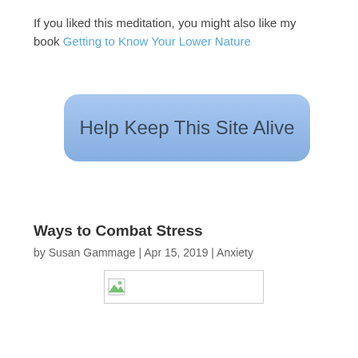If you liked this meditation, you might also like my book Getting to Know Your Lower Nature
[Figure (other): Blue rounded rectangle button labeled 'Help Keep This Site Alive']
Ways to Combat Stress
by Susan Gammage | Apr 15, 2019 | Anxiety
[Figure (other): Broken image placeholder with small icon]